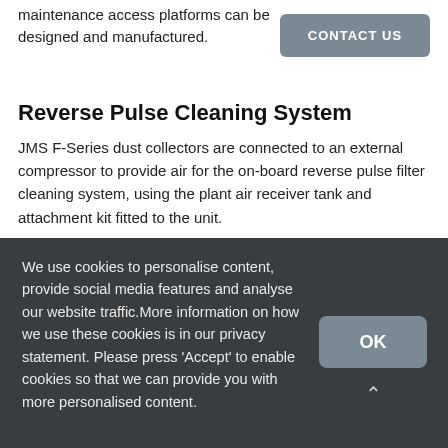maintenance access platforms can be designed and manufactured.
Reverse Pulse Cleaning System
JMS F-Series dust collectors are connected to an external compressor to provide air for the on-board reverse pulse filter cleaning system, using the plant air receiver tank and attachment kit fitted to the unit.
Jet tubes direct air inside the filters which blasts air from the inside of each filter, effectively removing dust build-up and prevents the filters from clogging. The adjustable timer allows the pressure and frequency of pulse cleaning to be
We use cookies to personalise content, provide social media features and analyse our website traffic.More information on how we use these cookies is in our privacy statement. Please press 'Accept' to enable cookies so that we can provide you with more personalised content.